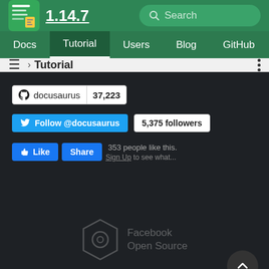1.14.7 — Search
Docs | Tutorial | Users | Blog | GitHub | English
≡ › Tutorial
[Figure (screenshot): GitHub star badge showing docusaurus with 37,223 stars]
[Figure (screenshot): Twitter Follow @docusaurus button with 5,375 followers badge]
[Figure (screenshot): Facebook Like and Share buttons with 353 people like this text]
[Figure (logo): Facebook Open Source logo with hexagon icon]
Copyright © 2021 Facebook Inc. Landing images by